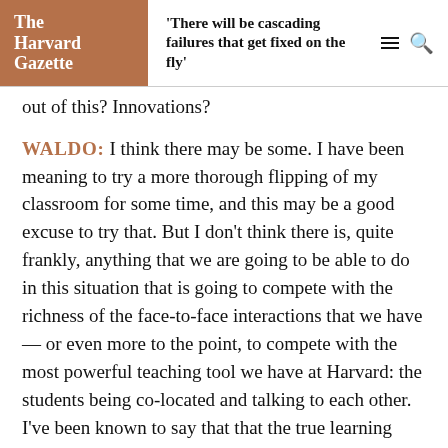The Harvard Gazette | 'There will be cascading failures that get fixed on the fly'
out of this? Innovations?
WALDO: I think there may be some. I have been meaning to try a more thorough flipping of my classroom for some time, and this may be a good excuse to try that. But I don't think there is, quite frankly, anything that we are going to be able to do in this situation that is going to compete with the richness of the face-to-face interactions that we have — or even more to the point, to compete with the most powerful teaching tool we have at Harvard: the students being co-located and talking to each other. I've been known to say that that the true learning environment at Harvard is the fact that we bring in the students that we do, we pack them together, and we give them just enough interesting ideas and